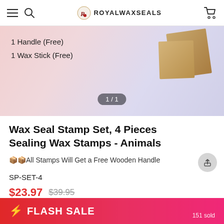ROYALWAXSEALS
[Figure (photo): Product image area showing wax seal stamp set on a pink/lavender background with text '1 Handle (Free)' and '1 Wax Stick (Free)' and page indicator '1/1']
Wax Seal Stamp Set, 4 Pieces Sealing Wax Stamps - Animals
All Stamps Will Get a Free Wooden Handle
SP-SET-4
$23.97  $39.95
⚡ FLASH SALE